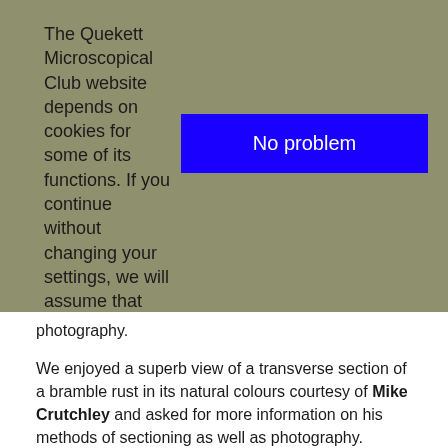The Quekett Microscopical Club website depends on cookies for some of its functions. If you continue without changing your settings, we will assume that you are happy to receive all cookies on our website. To find out more about the cookies, see our privacy policy.
No problem
photography.
We enjoyed a superb view of a transverse section of a bramble rust in its natural colours courtesy of Mike Crutchley and asked for more information on his methods of sectioning as well as photography.
[Figure (photo): Close-up microscopy photograph of a transverse section of bramble rust showing yellow-orange spongy structures against a dark greenish-brown background.]